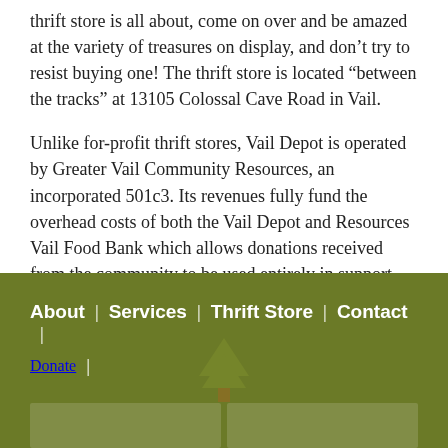thrift store is all about, come on over and be amazed at the variety of treasures on display, and don't try to resist buying one! The thrift store is located “between the tracks” at 13105 Colossal Cave Road in Vail.
Unlike for-profit thrift stores, Vail Depot is operated by Greater Vail Community Resources, an incorporated 501c3. Its revenues fully fund the overhead costs of both the Vail Depot and Resources Vail Food Bank which allows donations received from the community to be used entirely in support ReSources outreach programs.
About | Services | Thrift Store | Contact | Donate |